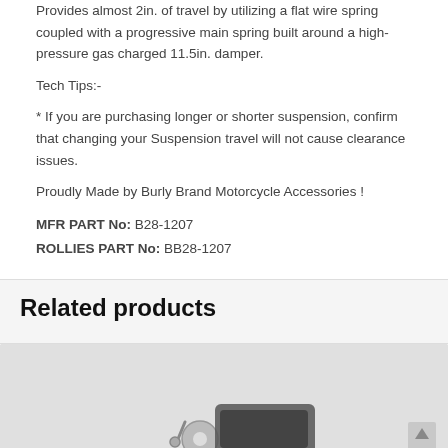Provides almost 2in. of travel by utilizing a flat wire spring coupled with a progressive main spring built around a high-pressure gas charged 11.5in. damper.
Tech Tips:-
* If you are purchasing longer or shorter suspension, confirm that changing your Suspension travel will not cause clearance issues.
Proudly Made by Burly Brand Motorcycle Accessories !
MFR PART No: B28-1207
ROLLIES PART No: BB28-1207
Related products
[Figure (photo): Product image area showing motorcycle accessories, partially visible at bottom of page]